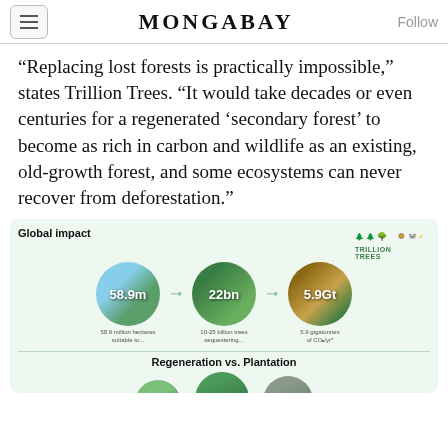MONGABAY
“Replacing lost forests is practically impossible,” states Trillion Trees. “It would take decades or even centuries for a regenerated ‘secondary forest’ to become as rich in carbon and wildlife as an existing, old-growth forest, and some ecosystems can never recover from deforestation.”
[Figure (infographic): Global impact infographic from Trillion Trees showing three circles: 58.9m (58.9 million hectares suitable to...), 22bn (10-25 billion trees sequestering...), 5.9Gt (5.9 gigatonnes of CO2/yr*), connected by green arrows. Below a divider is a 'Regeneration vs. Plantation' section with three circles labeled Higher and Natural.]